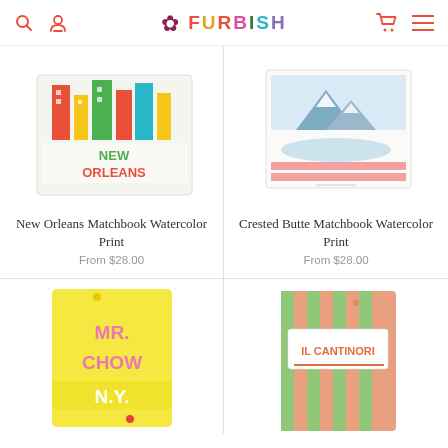FURBISH — navigation header with search, account, cart, menu icons
[Figure (illustration): New Orleans Matchbook Watercolor Print product image — colorful watercolor matchbook with city illustration and NEW ORLEANS text]
New Orleans Matchbook Watercolor Print
From $28.00
[Figure (illustration): Crested Butte Matchbook Watercolor Print product image — watercolor matchbook with mountain/snow scene in blue and pink tones]
Crested Butte Matchbook Watercolor Print
From $28.00
[Figure (illustration): Mr. Chow N.Y. matchbook watercolor print — yellow matchbook with pink lettering MR. CHOW N.Y.]
[Figure (illustration): IL Cantinori matchbook watercolor print — green and coral striped matchbook with IL CANTINORI label]